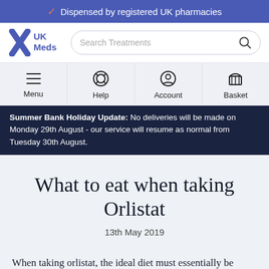Dispensed by registered UK pharmacies
[Figure (logo): UK Meds logo with stylized X and search bar]
[Figure (screenshot): Navigation bar with Menu, Help, Account, Basket icons]
Summer Bank Holiday Update: No deliveries will be made on Monday 29th August - our service will resume as normal from Tuesday 30th August.
What to eat when taking Orlistat
13th May 2019
When taking orlistat, the ideal diet must essentially be mildly hypo-caloric. This means that you will be consuming slightly fewer calories than you burn. To be able to achieve this, do